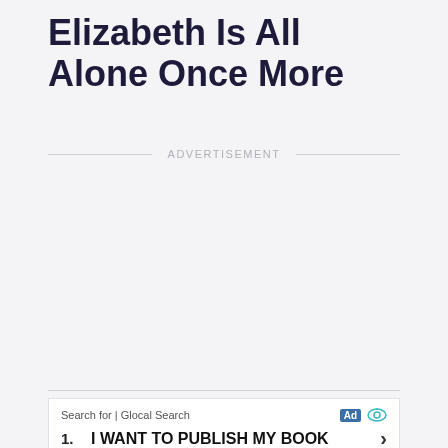Elizabeth Is All Alone Once More
ADVERTISEMENT
[Figure (other): Advertisement widget showing 'Search for | Glocal Search' with item '1. I WANT TO PUBLISH MY BOOK' and a right arrow chevron, with Ad badge and eye icon]